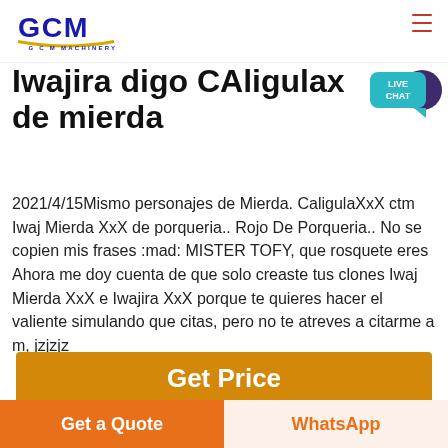GCM MACHINERY
Iwajira digo CAligulax de mierda
2021/4/15Mismo personajes de Mierda. CaligulaXxX ctm Iwaj Mierda XxX de porqueria.. Rojo De Porqueria.. No se copien mis frases :mad: MISTER TOFY, que rosquete eres Ahora me doy cuenta de que solo creaste tus clones Iwaj Mierda XxX e Iwajira XxX porque te quieres hacer el valiente simulando que citas, pero no te atreves a citarme a m, jzjzjz
[Figure (other): Orange 'Get Price' call-to-action button]
[Figure (photo): Three thumbnail images at bottom of page]
Get a Quote
WhatsApp